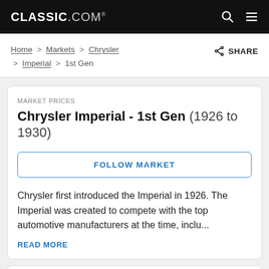CLASSIC.COM
Home > Markets > Chrysler > Imperial > 1st Gen
SHARE
MARKET PRICES
Chrysler Imperial - 1st Gen (1926 to 1930)
FOLLOW MARKET
Chrysler first introduced the Imperial in 1926. The Imperial was created to compete with the top automotive manufacturers at the time, inclu...
READ MORE